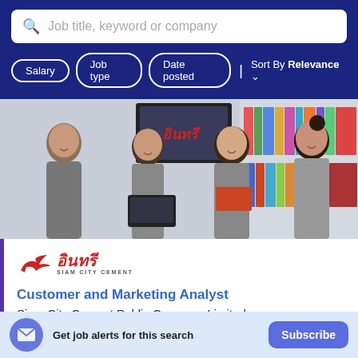Job title, keyword or company
Salary | Job type | Date posted | Sort By Relevance
[Figure (photo): Four young Asian women in an office/library setting, smiling, with laptops and books. A Thai language logo (อินทรี / Siam City Cement) is visible in the background on a TV screen.]
[Figure (logo): อินทรี Siam City Cement logo — red stylized bird/arrow icon with Thai text อินทรี in red italic and SIAM CITY CEMENT in small grey caps]
Customer and Marketing Analyst
Siam City Cement Public Company Limited
Klongtoey
Get job alerts for this search
Subscribe